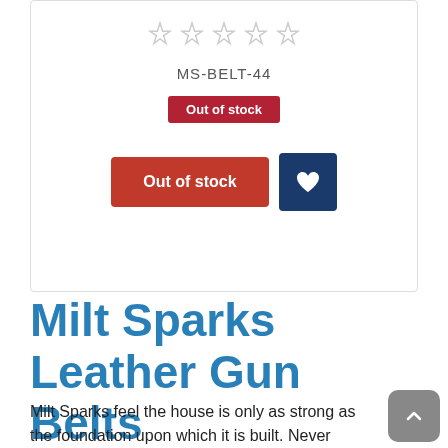[Figure (other): Five empty star rating icons in gray]
MS-BELT-44
Out of stock
[Figure (other): Out of stock red button and blue wishlist heart button]
Milt Sparks Leather Gun Belts
Milt Sparks feel the house is only as strong as the foundation upon which it is built. Never were truer words spoken regarding the